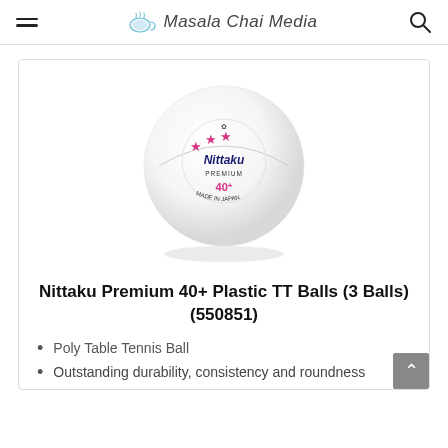Masala Chai Media
[Figure (photo): A white Nittaku Premium 40+ table tennis ball with three pink stars and logo on it, displayed on a white background inside a product card.]
Nittaku Premium 40+ Plastic TT Balls (3 Balls) (550851)
Poly Table Tennis Ball
Outstanding durability, consistency and roundness